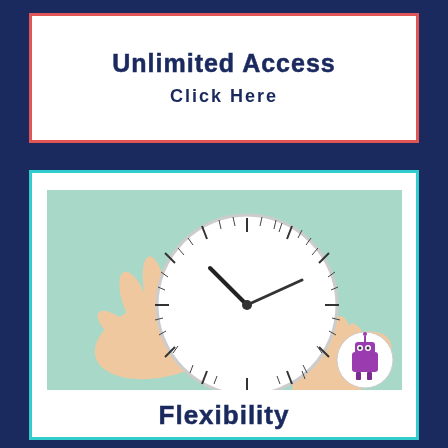Unlimited Access
Click Here
[Figure (photo): Hands touching a white analog clock against a mint/teal green background, with a small robot mascot logo in the bottom right corner of the image.]
Flexibility